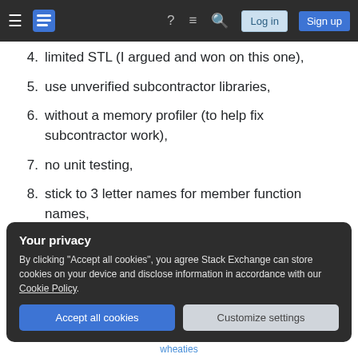Stack Exchange navigation bar
4. limited STL (I argued and won on this one),
5. use unverified subcontractor libraries,
6. without a memory profiler (to help fix subcontractor work),
7. no unit testing,
8. stick to 3 letter names for member function names,
9. no test environment (VM not allowed either) just push to production
Your privacy
By clicking "Accept all cookies", you agree Stack Exchange can store cookies on your device and disclose information in accordance with our Cookie Policy.
wheaties